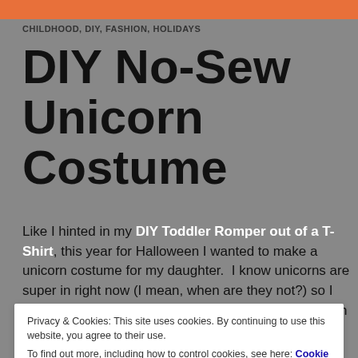[Figure (photo): Top portion of a photo, appears to show an orange costume or fabric with a dark background at the edge]
CHILDHOOD, DIY, FASHION, HOLIDAYS
DIY No-Sew Unicorn Costume
Like I hinted in my DIY Toddler Romper out of a T-Shirt, this year for Halloween I wanted to make a unicorn costume for my daughter.  I know unicorns are super in right now (I mean, when are they not?) so I thought it would be a perfect idea.  I searched through Pinterest
Privacy & Cookies: This site uses cookies. By continuing to use this website, you agree to their use.
To find out more, including how to control cookies, see here: Cookie Policy
Close and accept
jam.  It was very easy to make and I was able to put it all together in under an amount of time.  I was so excited to